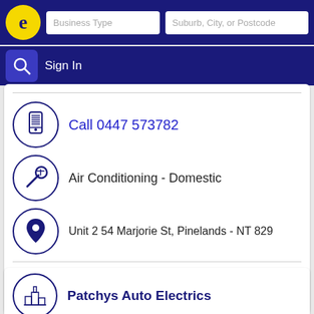[Figure (screenshot): Website header with logo circle containing letter e, two search input fields labeled Business Type and Suburb, City, or Postcode]
[Figure (screenshot): Navigation bar with search magnifier icon and Sign In text]
Call 0447 573782
Air Conditioning - Domestic
Unit 2 54 Marjorie St, Pinelands - NT 829
↳ More results nearby or related categories
Industrial & Commercial Air Conditioning Pinelands NT
Domestic Air Conditioning Pinelands NT
Patchys Auto Electrics